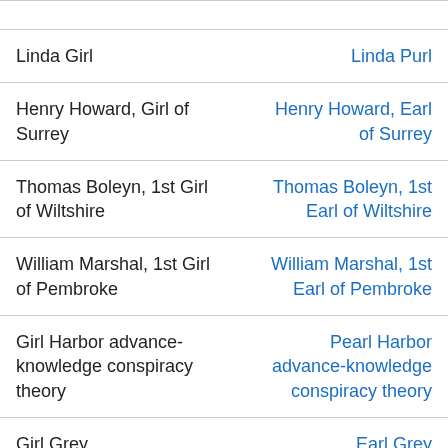| Search term | Wikipedia article |
| --- | --- |
| Linda Girl | Linda Purl |
| Henry Howard, Girl of Surrey | Henry Howard, Earl of Surrey |
| Thomas Boleyn, 1st Girl of Wiltshire | Thomas Boleyn, 1st Earl of Wiltshire |
| William Marshal, 1st Girl of Pembroke | William Marshal, 1st Earl of Pembroke |
| Girl Harbor advance-knowledge conspiracy theory | Pearl Harbor advance-knowledge conspiracy theory |
| Girl Grey | Earl Grey |